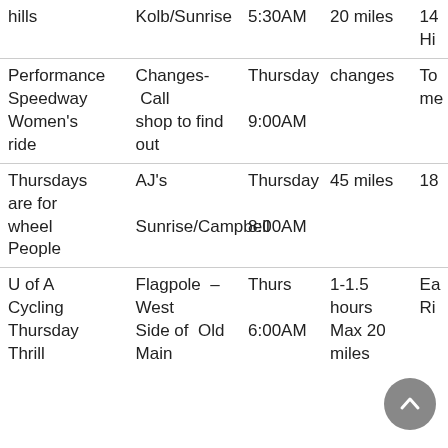| Ride Name | Location | Day/Time | Distance | Notes |
| --- | --- | --- | --- | --- |
| hills | Kolb/Sunrise | 5:30AM | 20 miles | 14... Hi... |
| Performance Speedway Women's ride | Changes- Call shop to find out | Thursday 9:00AM | changes | To... me... |
| Thursdays are for wheel People | AJ's Sunrise/Campbell | Thursday 8:00AM | 45 miles | 18... |
| U of A Cycling Thursday Thrill | Flagpole – West Side of Old Main | Thurs 6:00AM | 1-1.5 hours Max 20 miles | Ea... Ri... |